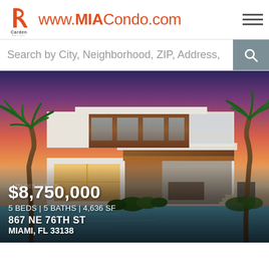[Figure (logo): Carden Realty logo - stylized R with Carden Realty text below]
www.MIACondo.com
Search by City, Neighborhood, ZIP, Address,
[Figure (photo): Luxury modern two-story home with pool in foreground, palm trees on sides, sunset/dusk sky with pink and purple hues. White modern architecture with wood accents, large glass windows and covered outdoor living area.]
$8,750,000
5 BEDS | 5 BATHS | 4,636 SF
867 NE 76TH ST
MIAMI, FL 33138